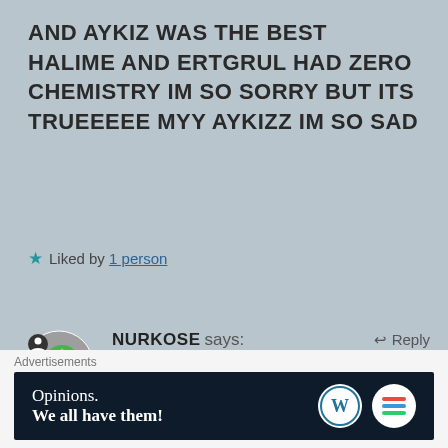AND AYKIZ WAS THE BEST HALIME AND ERTGRUL HAD ZERO CHEMISTRY IM SO SORRY BUT ITS TRUEEEEE MYY AYKIZZ IM SO SAD
★ Liked by 1 person
NURKOSE says: May 11, 2020 at 9:58 pm
Yes, Aykiz's death was definitely so sad! Aykiz was one of my all-time favorite characters even though she never really made past season 1
Advertisements
[Figure (screenshot): WordPress advertisement banner: 'Opinions. We all have them!' with WordPress and Begin logo icons on dark navy background]